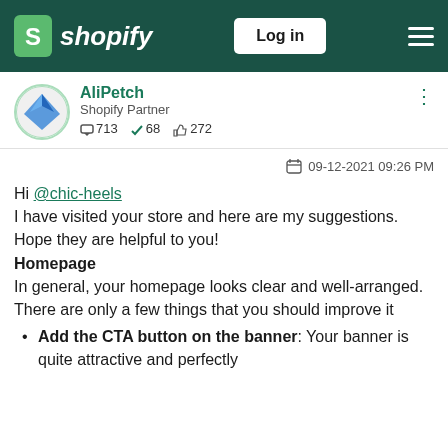shopify | Log in
AliPetch
Shopify Partner
713  68  272
09-12-2021 09:26 PM
Hi @chic-heels
I have visited your store and here are my suggestions. Hope they are helpful to you!
Homepage
In general, your homepage looks clear and well-arranged. There are only a few things that you should improve it
Add the CTA button on the banner: Your banner is quite attractive and perfectly